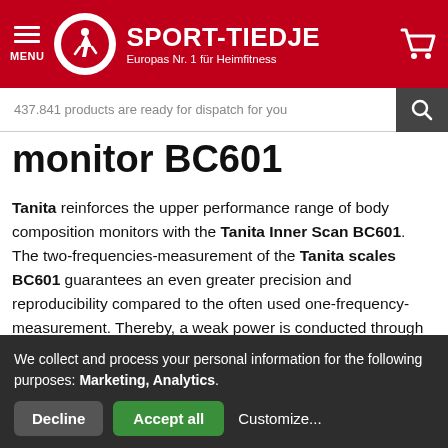[Figure (logo): Sport-Tiedje website header with red background, hamburger menu icon, circular logo with athlete icon, and SPORT-TIEDJE text with subtitle 'Europas Nr. 1 für Heimfitness', and cart icon on the right]
437.841 products are ready for dispatch for you
monitor BC601
Tanita reinforces the upper performance range of body composition monitors with the Tanita Inner Scan BC601. The two-frequencies-measurement of the Tanita scales BC601 guarantees an even greater precision and reproducibility compared to the often used one-frequency-measurement. Thereby, a weak power is conducted through the body twice, one after the other, and the resistance is measured. The current conduction searches its way around the cells for the first frequency. At the second frequency, the
We collect and process your personal information for the following purposes: Marketing, Analytics.
Decline
Accept all
Customize...